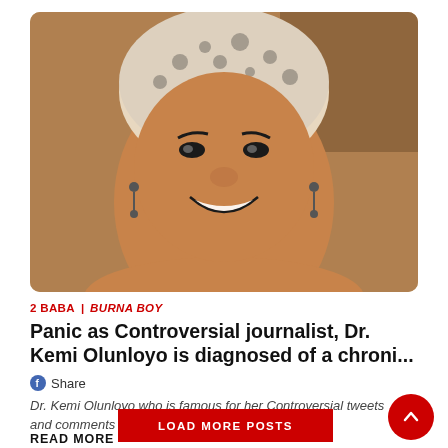[Figure (photo): Portrait photo of Dr. Kemi Olunloyo, a smiling woman wearing a patterned headwrap and earrings]
2 BABA | BURNA BOY
Panic as Controversial journalist, Dr. Kemi Olunloyo is diagnosed of a chroni...
Share
Dr. Kemi Olunloyo who is famous for her Controversial tweets and comments on social media is down w...
READ MORE →
LOAD MORE POSTS